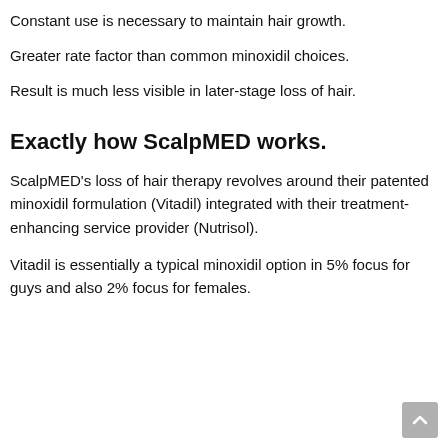Constant use is necessary to maintain hair growth.
Greater rate factor than common minoxidil choices.
Result is much less visible in later-stage loss of hair.
Exactly how ScalpMED works.
ScalpMED's loss of hair therapy revolves around their patented minoxidil formulation (Vitadil) integrated with their treatment-enhancing service provider (Nutrisol).
Vitadil is essentially a typical minoxidil option in 5% focus for guys and also 2% focus for females.